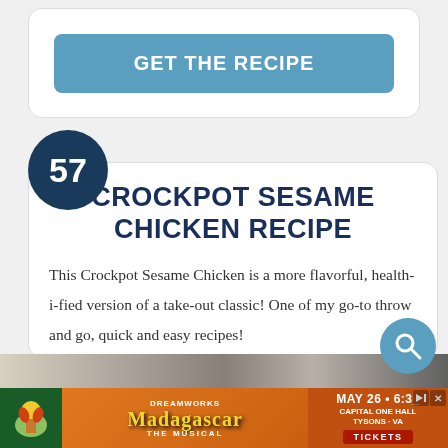[Figure (other): Blue button with text GET THE RECIPE]
[Figure (other): Dark teal circle badge with number 57]
CROCKPOT SESAME CHICKEN RECIPE
This Crockpot Sesame Chicken is a more flavorful, health-i-fied version of a take-out classic! One of my go-to throw and go, quick and easy recipes!
[Figure (other): Blue circular search icon with magnifying glass]
[Figure (photo): Partial food image strip at bottom of card]
[Figure (other): Madagascar the Musical advertisement banner: MAY 26 • 6:3_ CAPITAL ONE HALL TYSONS - VA TICKETS]